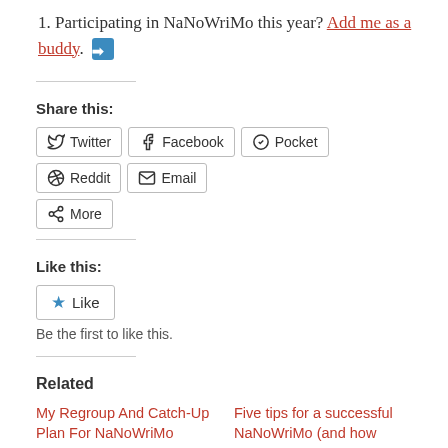1. Participating in NaNoWriMo this year? Add me as a buddy.
Share this:
Twitter Facebook Pocket Reddit Email More
Like this:
Like
Be the first to like this.
Related
My Regroup And Catch-Up Plan For NaNoWriMo
his year, while I am participating in NaNoWriMo, I am not
Five tips for a successful NaNoWriMo (and how Scrivener can help)
Having successfully completed NaNoWriMo